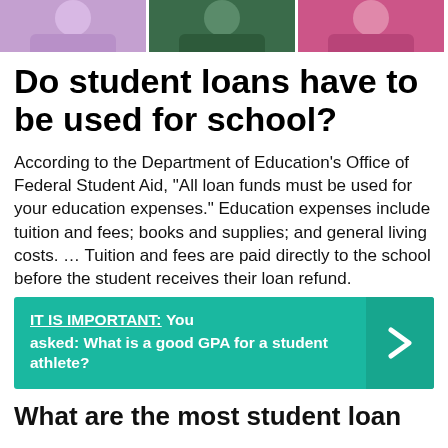[Figure (photo): Three photos of students side by side at the top of the page]
Do student loans have to be used for school?
According to the Department of Education's Office of Federal Student Aid, “All loan funds must be used for your education expenses.” Education expenses include tuition and fees; books and supplies; and general living costs. … Tuition and fees are paid directly to the school before the student receives their loan refund.
IT IS IMPORTANT:  You asked: What is a good GPA for a student athlete?
What are the most student loan